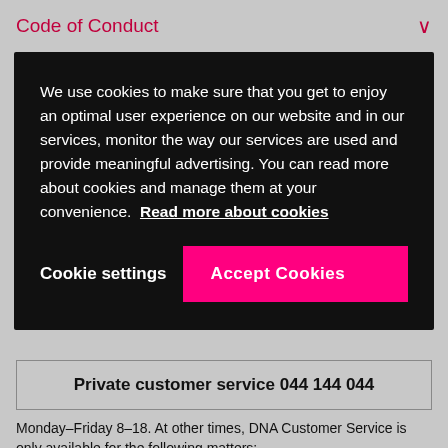Code of Conduct
We use cookies to make sure that you get to enjoy an optimal user experience on our website and in our services, monitor the way our services are used and provide meaningful advertising. You can read more about cookies and manage them at your convenience. Read more about cookies
Cookie settings
Accept Cookies
| Private customer service 044 144 044 |
Monday–Friday 8–18. At other times, DNA Customer Service is only available for the following matters:
PUK codes
Suspension of subscription in case of theft or disappearance